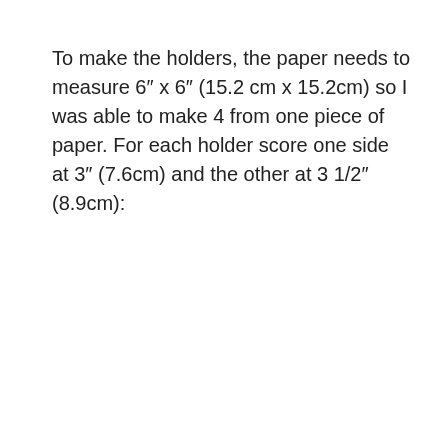To make the holders, the paper needs to measure 6″ x 6″ (15.2 cm x 15.2cm) so I was able to make 4 from one piece of paper. For each holder score one side at 3″ (7.6cm) and the other at 3 1/2″ (8.9cm):